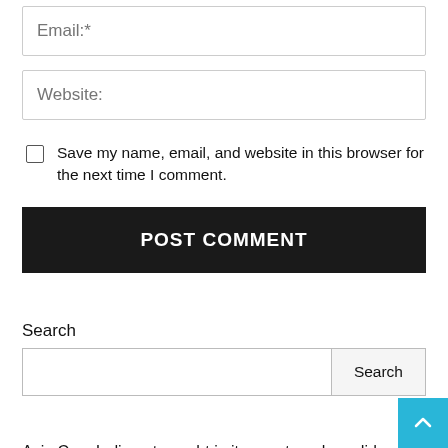Email:*
Website:
Save my name, email, and website in this browser for the next time I comment.
POST COMMENT
Search
Search
Asia Cup: India got caught in its own trap, how did Pakistan slam us with our own strategy?